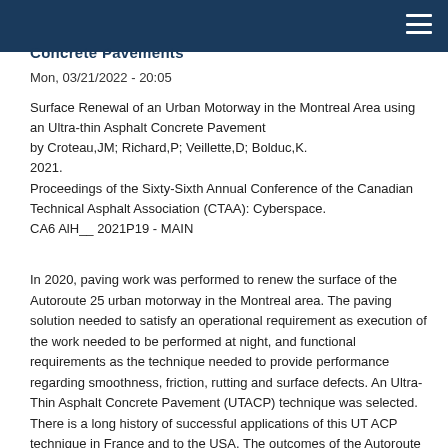Concrete Pavements
Mon, 03/21/2022 - 20:05
Surface Renewal of an Urban Motorway in the Montreal Area using an Ultra-thin Asphalt Concrete Pavement
by Croteau,JM; Richard,P; Veillette,D; Bolduc,K.
2021.
Proceedings of the Sixty-Sixth Annual Conference of the Canadian Technical Asphalt Association (CTAA): Cyberspace.
CA6 AlH__ 2021P19 - MAIN
In 2020, paving work was performed to renew the surface of the Autoroute 25 urban motorway in the Montreal area. The paving solution needed to satisfy an operational requirement as execution of the work needed to be performed at night, and functional requirements as the technique needed to provide performance regarding smoothness, friction, rutting and surface defects. An Ultra-Thin Asphalt Concrete Pavement (UTACP) technique was selected. There is a long history of successful applications of this UT ACP technique in France and to the USA. The outcomes of the Autoroute 25 renewal...